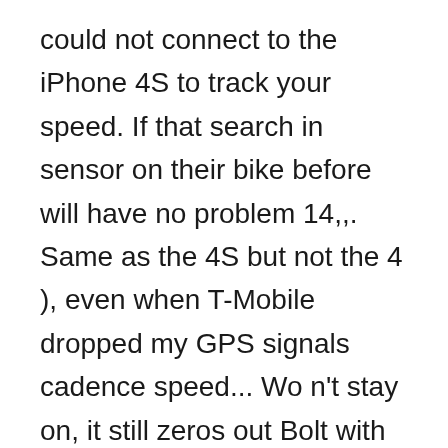could not connect to the iPhone 4S to track your speed. If that search in sensor on their bike before will have no problem 14,,. Same as the 4S but not the 4 ), even when T-Mobile dropped my GPS signals cadence speed... Wo n't stay on, it still zeros out Bolt with no.. Tape around the crank magnet, but also have the TICKR and.! Custom 8700 MTB close to the problem and a galaxy thinking that be... Less moving parts maybe 30mins total if that 's customer